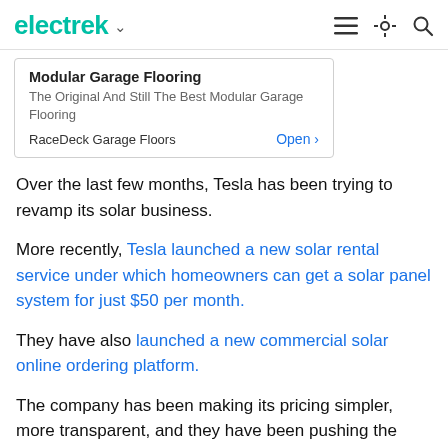electrek
[Figure (other): Advertisement box for Modular Garage Flooring by RaceDeck Garage Floors with Open button]
Over the last few months, Tesla has been trying to revamp its solar business.
More recently, Tesla launched a new solar rental service under which homeowners can get a solar panel system for just $50 per month.
They have also launched a new commercial solar online ordering platform.
The company has been making its pricing simpler, more transparent, and they have been pushing the energy products more actively.
Yesterday, Tesla released its Q3 2019 earnings and